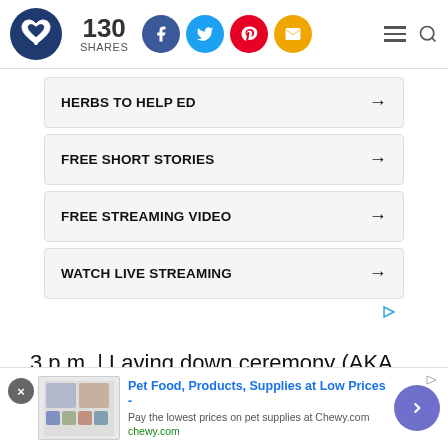130 SHARES [social icons: Facebook, Twitter, Pinterest, Email] [hamburger menu] [search]
HERBS TO HELP ED →
FREE SHORT STORIES →
FREE STREAMING VIDEO →
WATCH LIVE STREAMING →
3 p.m. | Laying down ceremony (AKA. Taking a
[Figure (screenshot): Advertisement banner: Pet Food, Products, Supplies at Low Prices - Chewy.com. Shows product images on left with close button and chevron navigation button on right.]